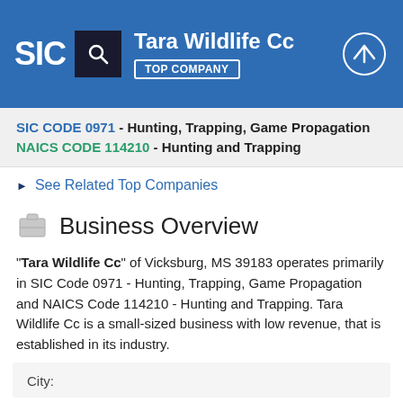SIC | Tara Wildlife Cc | TOP COMPANY
SIC CODE 0971 - Hunting, Trapping, Game Propagation
NAICS CODE 114210 - Hunting and Trapping
See Related Top Companies
Business Overview
"Tara Wildlife Cc" of Vicksburg, MS 39183 operates primarily in SIC Code 0971 - Hunting, Trapping, Game Propagation and NAICS Code 114210 - Hunting and Trapping. Tara Wildlife Cc is a small-sized business with low revenue, that is established in its industry.
City: